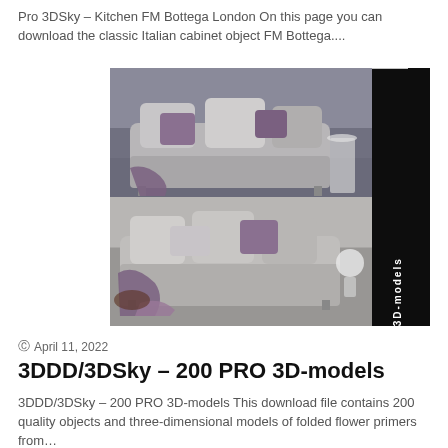Pro 3DSky – Kitchen FM Bottega London On this page you can download the classic Italian cabinet object FM Bottega....
[Figure (photo): 3D render of two gray sofas with purple and gray cushions and a purple throw blanket, shown from two angles in a room setting, with a black sidebar showing 'PRO 3D-models' text vertically]
April 11, 2022
3DDD/3DSky – 200 PRO 3D-models
3DDD/3DSky – 200 PRO 3D-models This download file contains 200 quality objects and three-dimensional models of folded flower primers from…